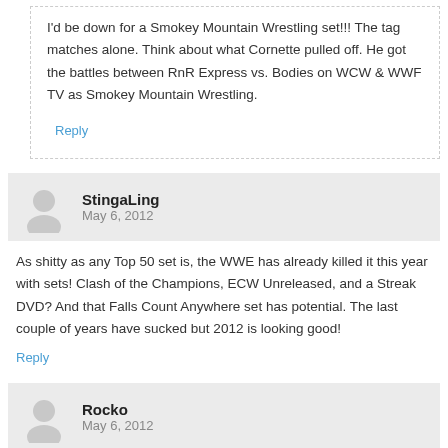I'd be down for a Smokey Mountain Wrestling set!!! The tag matches alone. Think about what Cornette pulled off. He got the battles between RnR Express vs. Bodies on WCW & WWF TV as Smokey Mountain Wrestling.
Reply
StingaLing
May 6, 2012
As shitty as any Top 50 set is, the WWE has already killed it this year with sets! Clash of the Champions, ECW Unreleased, and a Streak DVD? And that Falls Count Anywhere set has potential. The last couple of years have sucked but 2012 is looking good!
Reply
Rocko
May 6, 2012
They really are missing out if they forfeit a Top 50 Finishers & I...